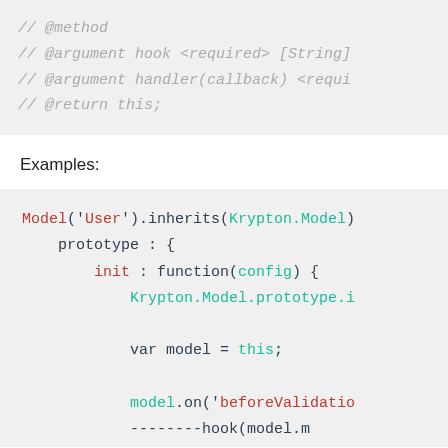// @method
// @argument hook <required> [String]
// @argument handler(callback) <requi
// @return this;
Examples:
Model('User').inherits(Krypton.Model)
    prototype : {
        init : function(config) {
            Krypton.Model.prototype.i

            var model = this;

            model.on('beforeValidatio
            --------hook(model.m